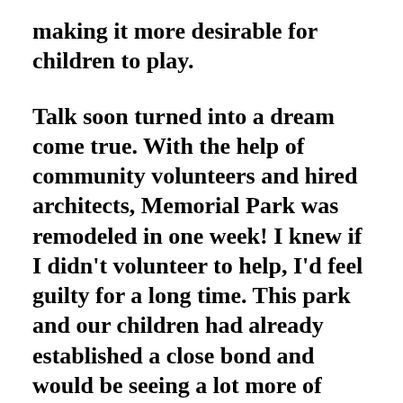making it more desirable for children to play.
Talk soon turned into a dream come true. With the help of community volunteers and hired architects, Memorial Park was remodeled in one week! I knew if I didn’t volunteer to help, I’d feel guilty for a long time. This park and our children had already established a close bond and would be seeing a lot more of each other.
So, I volunteered to get my hands dirty and to participate in the camaraderie. Hammering, painting, lifting, cleaning,